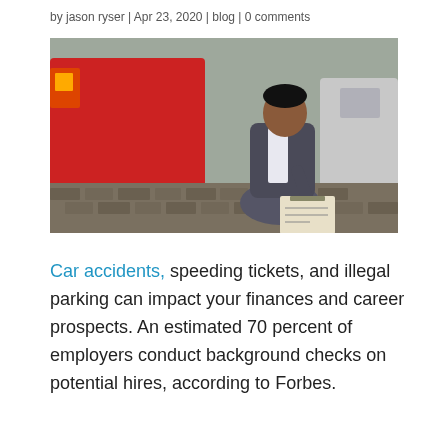by jason ryser | Apr 23, 2020 | blog | 0 comments
[Figure (photo): A man in a grey suit crouching down writing on a clipboard next to a damaged red car and another car, examining the scene of a car accident on a cobblestone surface.]
Car accidents, speeding tickets, and illegal parking can impact your finances and career prospects. An estimated 70 percent of employers conduct background checks on potential hires, according to Forbes.